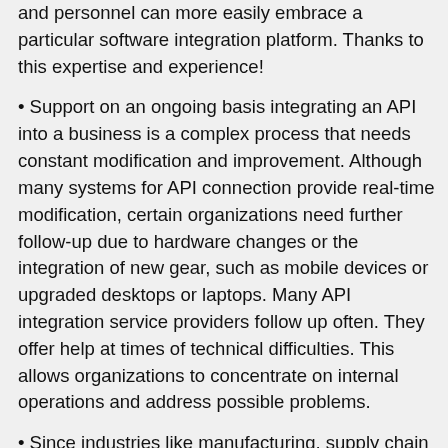and personnel can more easily embrace a particular software integration platform. Thanks to this expertise and experience!
Support on an ongoing basis integrating an API into a business is a complex process that needs constant modification and improvement. Although many systems for API connection provide real-time modification, certain organizations need further follow-up due to hardware changes or the integration of new gear, such as mobile devices or upgraded desktops or laptops. Many API integration service providers follow up often. They offer help at times of technical difficulties. This allows organizations to concentrate on internal operations and address possible problems.
Since industries like manufacturing, supply chain management, and logistics use a variety of software applications, you need business expertise to manage complex workflows. A supplier of API integration services with knowledge of the unique problems facing your industry can guarantee effective